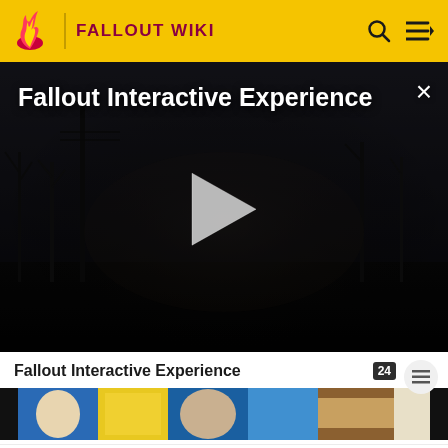FALLOUT WIKI
[Figure (screenshot): Video player showing dark post-apocalyptic scene with trees and fog. Title 'Fallout Interactive Experience' in white text top-left. Play button (white triangle) centered. Close (X) button top-right.]
Fallout Interactive Experience
[Figure (photo): Filmstrip thumbnail row showing colorful illustrated Fallout character art]
MORE